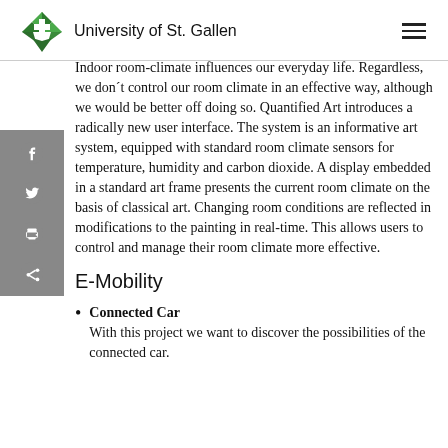University of St. Gallen
Indoor room-climate influences our everyday life. Regardless, we don´t control our room climate in an effective way, although we would be better off doing so. Quantified Art introduces a radically new user interface. The system is an informative art system, equipped with standard room climate sensors for temperature, humidity and carbon dioxide. A display embedded in a standard art frame presents the current room climate on the basis of classical art. Changing room conditions are reflected in modifications to the painting in real-time. This allows users to control and manage their room climate more effective.
E-Mobility
Connected Car
With this project we want to discover the possibilities of the connected car.